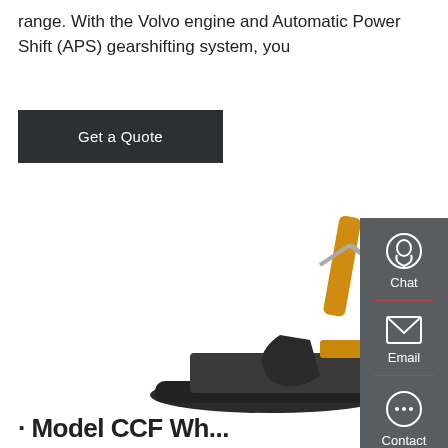range. With the Volvo engine and Automatic Power Shift (APS) gearshifting system, you
Get a Quote
[Figure (photo): XCMG yellow excavator on white background, showing full side profile with boom, arm, bucket, and tracks]
[Figure (infographic): Dark gray sidebar with Chat, Email, and Contact icons and labels, separated by red dividers]
· · · Model CCF Wh...